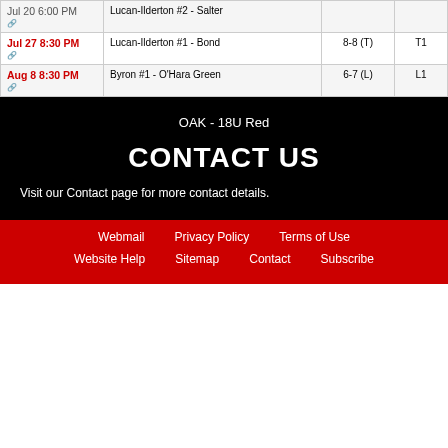| Date | Game | Score | Result |
| --- | --- | --- | --- |
| Jul 20 6:00 PM | Lucan-Ilderton #2 - Salter |  |  |
| Jul 27 8:30 PM | Lucan-Ilderton #1 - Bond | 8-8 (T) | T1 |
| Aug 8 8:30 PM | Byron #1 - O'Hara Green | 6-7 (L) | L1 |
OAK - 18U Red
CONTACT US
Visit our Contact page for more contact details.
Webmail  Privacy Policy  Terms of Use  Website Help  Sitemap  Contact  Subscribe